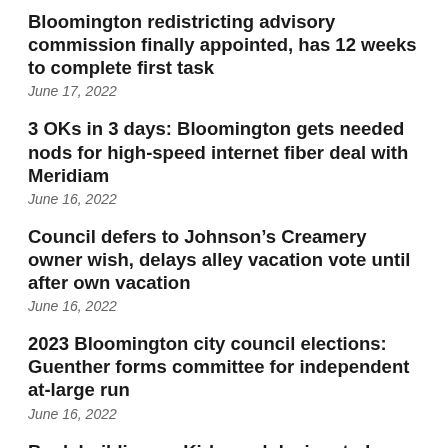Bloomington redistricting advisory commission finally appointed, has 12 weeks to complete first task
June 17, 2022
3 OKs in 3 days: Bloomington gets needed nods for high-speed internet fiber deal with Meridiam
June 16, 2022
Council defers to Johnson’s Creamery owner wish, delays alley vacation vote until after own vacation
June 16, 2022
2023 Bloomington city council elections: Guenther forms committee for independent at-large run
June 16, 2022
Bank building on Kirkwood designated as